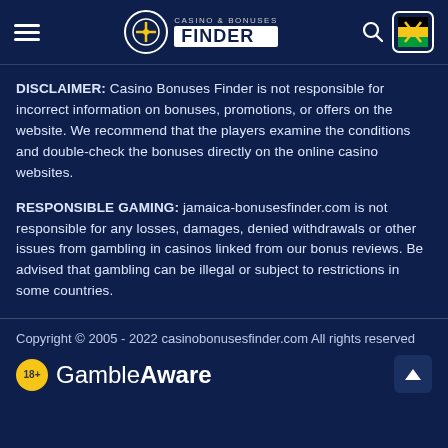Casino & Bonuses Finder
DISCLAIMER: Casino Bonuses Finder is not responsible for incorrect information on bonuses, promotions, or offers on the website. We recommend that the players examine the conditions and double-check the bonuses directly on the online casino websites.
RESPONSIBLE GAMING: jamaica-bonusesfinder.com is not responsible for any losses, damages, denied withdrawals or other issues from gambling in casinos linked from our bonus reviews. Be advised that gambling can be illegal or subject to restrictions in some countries.
Copyright © 2005 - 2022 casinobonusesfinder.com All rights reserved
[Figure (logo): GambleAware logo with 18+ badge]